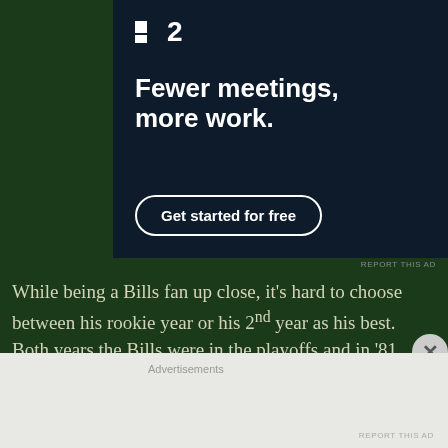[Figure (screenshot): Advertisement banner for a productivity app (P2). Dark navy background with white logo showing a small square icon and '2', headline text 'Fewer meetings, more work.' and a 'Get started for free' button with rounded border.]
REPORT THIS AD
While being a Bills fan up close, it's hard to choose between his rookie year or his 2nd year as his best. Both years the Bills were in the playoffs and in '81 he rushed for 1,097
Advertisements
REPORT THIS AD